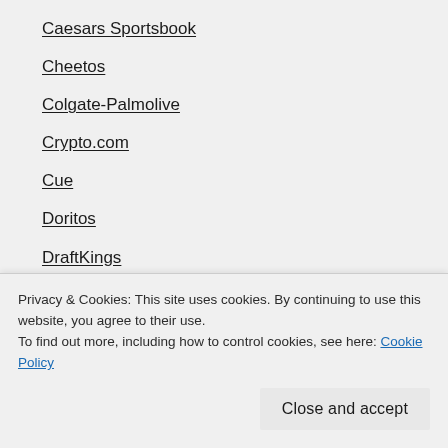Caesars Sportsbook
Cheetos
Colgate-Palmolive
Crypto.com
Cue
Doritos
DraftKings
eToro
Expedia
FTX
Privacy & Cookies: This site uses cookies. By continuing to use this website, you agree to their use.
To find out more, including how to control cookies, see here: Cookie Policy
HBO